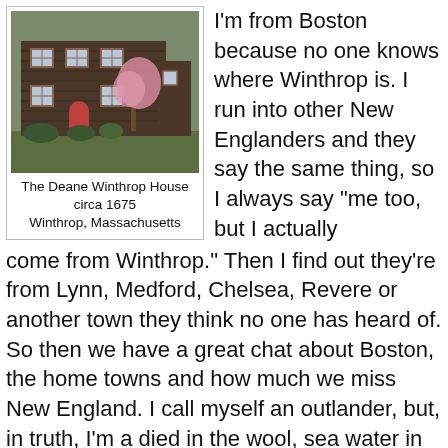[Figure (photo): Photograph of the Deane Winthrop House, a dark wood colonial-era building with multiple windows and a pink/cherry blossom tree beside it.]
The Deane Winthrop House circa 1675
Winthrop, Massachusetts
I'm from Boston because no one knows where Winthrop is. I run into other New Englanders and they say the same thing, so I always say “me too, but I actually come from Winthrop.” Then I find out they’re from Lynn, Medford, Chelsea, Revere or another town they think no one has heard of. So then we have a great chat about Boston, the home towns and how much we miss New England. I call myself an outlander, but, in truth, I’m a died in the wool, sea water in my veins, New Englander.
But this isn’t about me, it’s about Winthrop. This little gem of a town is a peninsula jutting out into the northern reaches of Boston Harbor. There are only two ways into and out of town, one through East Boston and the other through Revere. This has provided the town with a bit of insulation. You usually have a reason for going there because you can’t